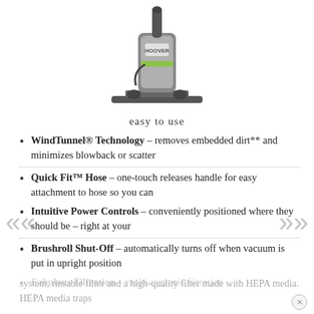[Figure (photo): A Hoover upright vacuum cleaner shown partially at the top of the page]
easy to use
WindTunnel® Technology – removes embedded dirt** and minimizes blowback or scatter
Quick Fit™ Hose – one-touch releases handle for easy attachment to hose so you can
Intuitive Power Controls – conveniently positioned where they should be – right at your
Brushroll Shut-Off – automatically turns off when vacuum is put in upright position
Fabulous Filtration – multi-cyclonic filtration
system, rinsable filter and a high-quality filter made with HEPA media. HEPA media traps